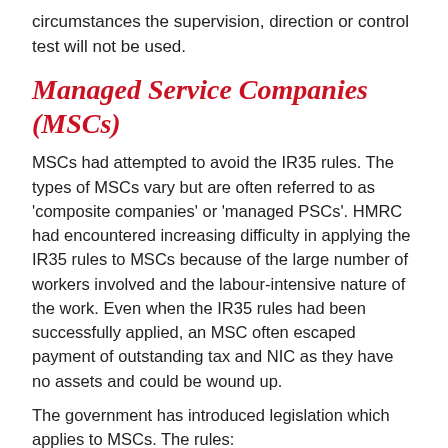circumstances the supervision, direction or control test will not be used.
Managed Service Companies (MSCs)
MSCs had attempted to avoid the IR35 rules. The types of MSCs vary but are often referred to as 'composite companies' or 'managed PSCs'. HMRC had encountered increasing difficulty in applying the IR35 rules to MSCs because of the large number of workers involved and the labour-intensive nature of the work. Even when the IR35 rules had been successfully applied, an MSC often escaped payment of outstanding tax and NIC as they have no assets and could be wound up.
The government has introduced legislation which applies to MSCs. The rules:
ensure that those working in MSCs pay PAYE and NIC at the same level as other employees
alter the travel and subsistence rules for workers of